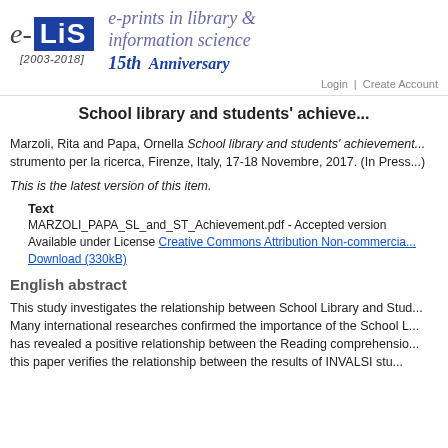[Figure (logo): e-LiS logo with blue box, italic e, LiS in white on blue background, year [2003-2018] below, and text 'e-prints in library & information science' with '15th Anniversary' to the right]
Login | Create Account
School library and students' achieve...
Marzoli, Rita and Papa, Ornella School library and students' achievement... strumento per la ricerca, Firenze, Italy, 17-18 Novembre, 2017. (In Press...)
This is the latest version of this item.
Text
MARZOLI_PAPA_SL_and_ST_Achievement.pdf - Accepted version
Available under License Creative Commons Attribution Non-commercial...
Download (330kB)
English abstract
This study investigates the relationship between School Library and Stud... Many international researches confirmed the importance of the School L... has revealed a positive relationship between the Reading comprehensio... this paper verifies the relationship between the results of INVALSI stu...